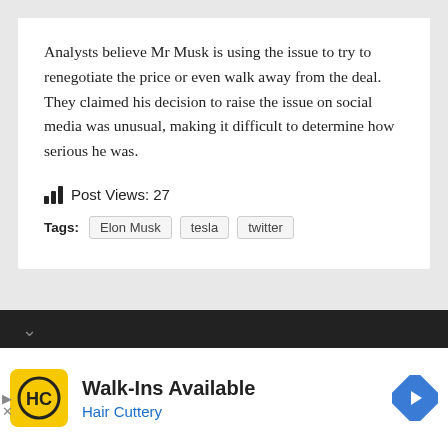Analysts believe Mr Musk is using the issue to try to renegotiate the price or even walk away from the deal. They claimed his decision to raise the issue on social media was unusual, making it difficult to determine how serious he was.
Post Views: 27
Tags: Elon Musk  tesla  twitter
[Figure (other): Dark navigation bar with chevron/down arrow and a dark rectangular element]
[Figure (other): Advertisement banner for Hair Cuttery showing logo, Walk-Ins Available text, and navigation arrow icon]